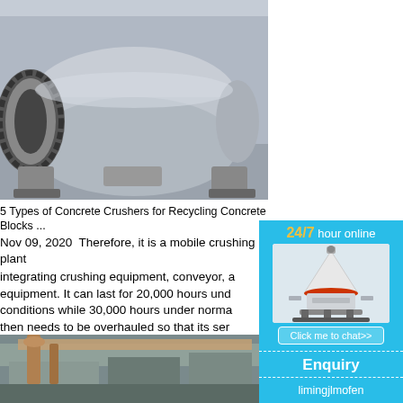[Figure (photo): Industrial ball mill / grinding machine in a factory setting, gray cylindrical body with gear ring]
5 Types of Concrete Crushers for Recycling Concrete Blocks ...
Nov 09, 2020  Therefore, it is a mobile crushing plant integrating crushing equipment, conveyor, a equipment. It can last for 20,000 hours und conditions while 30,000 hours under norma then needs to be overhauled so that its ser extended. 80-100t/h portable concrete crus
Read More
[Figure (photo): Industrial concrete recycling or processing equipment on site]
[Figure (infographic): Right sidebar: 24/7 hour online banner with cone crusher image, Click me to chat>> button, Enquiry section, limingjlmofen text]